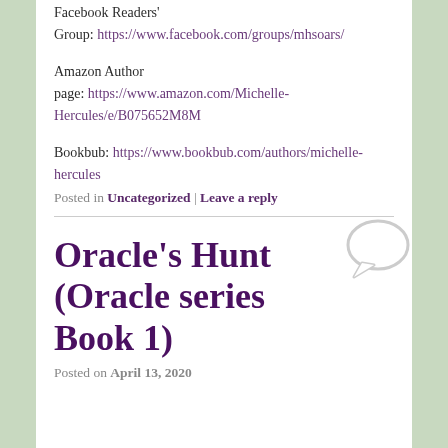Facebook Readers' Group: https://www.facebook.com/groups/mhsoars/
Amazon Author page: https://www.amazon.com/Michelle-Hercules/e/B075652M8M
Bookbub: https://www.bookbub.com/authors/michelle-hercules
Posted in Uncategorized | Leave a reply
Oracle's Hunt (Oracle series Book 1)
Posted on April 13, 2020